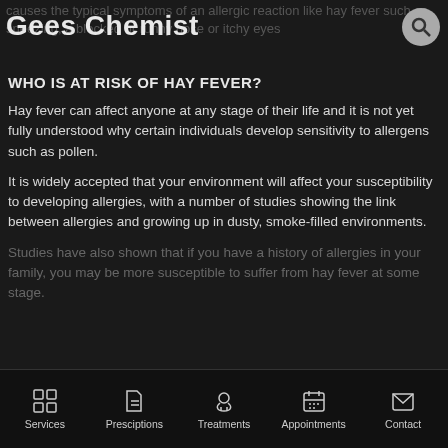Gees Chemist
causes the typical symptoms of an allergic reaction like hay fever such as sneezing, a blocked or runny nose or itchy eyes
WHO IS AT RISK OF HAY FEVER?
Hay fever can affect anyone at any stage of their life and it is not yet fully understood why certain individuals develop sensitivity to allergens such as pollen.
It is widely accepted that your environment will affect your susceptibility to developing allergies, with a number of studies showing the link between allergies and growing up in dusty, smoke-filled environments.
Studies have also shown that if you have a history of allergies in your family, you may be more susceptible to suffer from hay fever at some stage.
Services | Presciptions | Treatments | Appointments | Contact